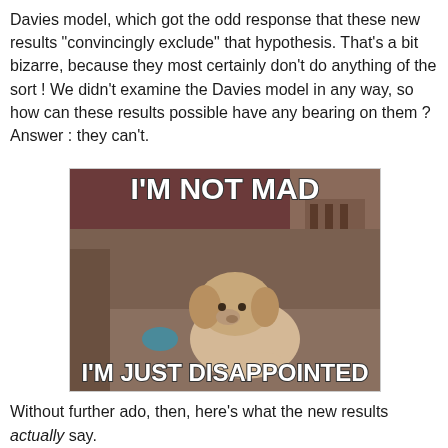Davies model, which got the odd response that these new results "convincingly exclude" that hypothesis. That's a bit bizarre, because they most certainly don't do anything of the sort ! We didn't examine the Davies model in any way, so how can these results possible have any bearing on them ? Answer : they can't.
[Figure (photo): Internet meme image of a small white fluffy dog sitting on a couch with text 'I'M NOT MAD' at the top and 'I'M JUST DISAPPOINTED' at the bottom]
Without further ado, then, here's what the new results actually say.